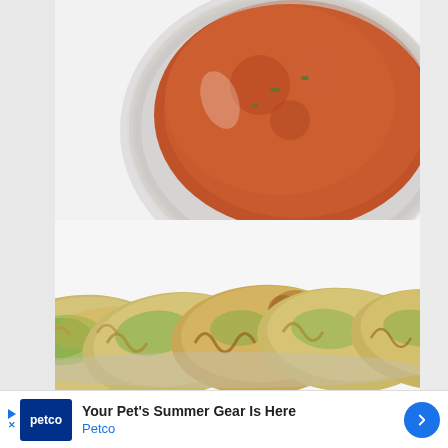[Figure (photo): A white plate with several golden-brown pan-fried or baked dumplings/momos arranged in a row, with green filling visible through translucent dough. In the background is a glass bowl filled with orange-red tomato chutney/sauce.]
Your Pet's Summer Gear Is Here
Petco